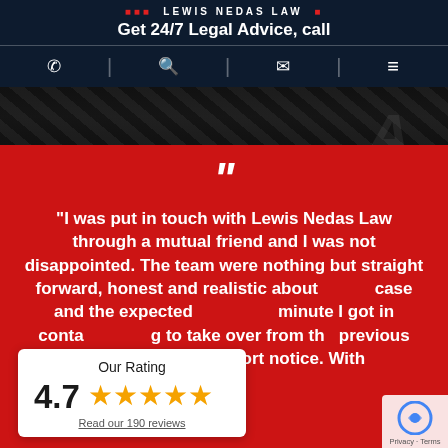LEWIS NEDAS LAW — Get 24/7 Legal Advice, call
[Figure (screenshot): Dark hero banner image with textured dark background]
"I was put in touch with Lewis Nedas Law through a mutual friend and I was not disappointed. The team were nothing but straight forward, honest and realistic about my case and the expected outcome. From the minute I got in contact they were willing to take over from the previous company at very short notice. With
Our Rating
4.7
Read our 190 reviews